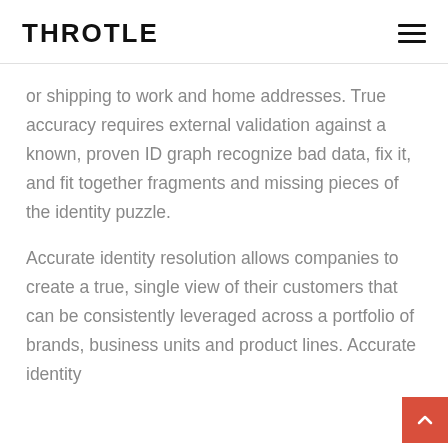THROTLE
or shipping to work and home addresses. True accuracy requires external validation against a known, proven ID graph recognize bad data, fix it, and fit together fragments and missing pieces of the identity puzzle.
Accurate identity resolution allows companies to create a true, single view of their customers that can be consistently leveraged across a portfolio of brands, business units and product lines. Accurate identity